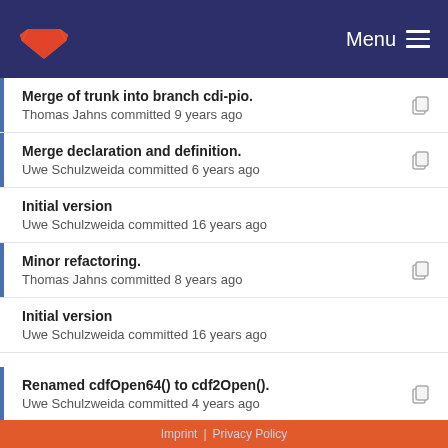GitLab — Menu
Merge of trunk into branch cdi-pio.
Thomas Jahns committed 9 years ago
Merge declaration and definition.
Uwe Schulzweida committed 6 years ago
Initial version
Uwe Schulzweida committed 16 years ago
Minor refactoring.
Thomas Jahns committed 8 years ago
Initial version
Uwe Schulzweida committed 16 years ago
Renamed cdfOpen64() to cdf2Open().
Uwe Schulzweida committed 4 years ago
Renamed FILETYPE_ to CDI_FILETYPE_.
Uwe Schulzweida committed 5 years ago
Imprint | Privacy Policy